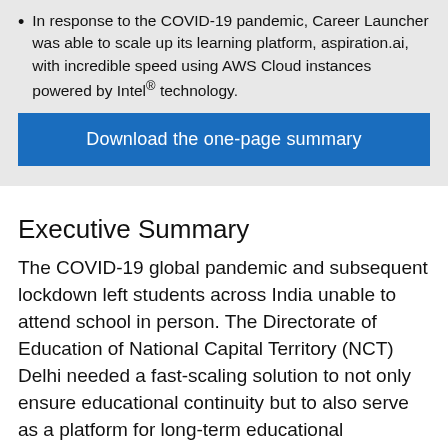In response to the COVID-19 pandemic, Career Launcher was able to scale up its learning platform, aspiration.ai, with incredible speed using AWS Cloud instances powered by Intel® technology.
Download the one-page summary
Executive Summary
The COVID-19 global pandemic and subsequent lockdown left students across India unable to attend school in person. The Directorate of Education of National Capital Territory (NCT) Delhi needed a fast-scaling solution to not only ensure educational continuity but to also serve as a platform for long-term educational transformation. It